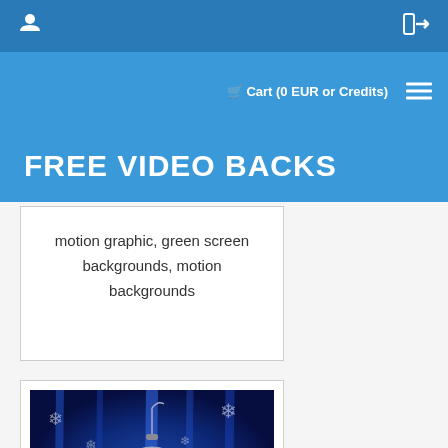FREE VIDEO BACKS
Cart (0 EUR or Credits)
motion graphic, green screen backgrounds, motion backgrounds
[Figure (photo): Christmas ornament ball on blue background with snowflakes and bokeh lighting effects]
Premium Video Background HD0942